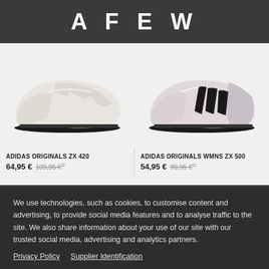AFEW
[Figure (photo): Adidas Originals ZX 420 sneaker in white/cream colorway, side view on white background]
[Figure (photo): Adidas Originals WMNS ZX 500 sneaker in light pink/grey with black stripes, side view on white background]
ADIDAS ORIGINALS ZX 420
64,95 €  109,95 €**
ADIDAS ORIGINALS WMNS ZX 500
54,95 €  99,95 €**
We use technologies, such as cookies, to customise content and advertising, to provide social media features and to analyse traffic to the site. We also share information about your use of our site with our trusted social media, advertising and analytics partners.
Privacy Policy   Supplier Identification